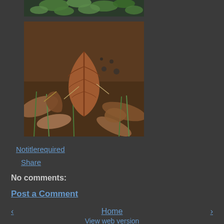[Figure (photo): Top portion of a plant with green leaves, partially cropped at top]
[Figure (photo): Close-up photo of dried brown autumn leaves on the ground with some green grass blades visible]
Notitlerequired
Share
No comments:
Post a Comment
‹
Home
›
View web version